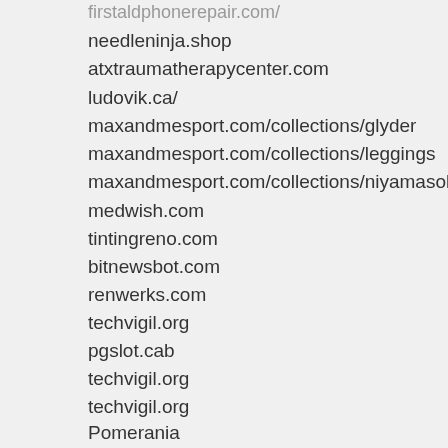firstaldphonerepair.com/
needleninja.shop
atxtraumatherapycenter.com
ludovik.ca/
maxandmesport.com/collections/glyder
maxandmesport.com/collections/leggings
maxandmesport.com/collections/niyamasol
medwish.com
tintingreno.com
bitnewsbot.com
renwerks.com
techvigil.org
pgslot.cab
techvigil.org
techvigil.org
Pomerania
Perros